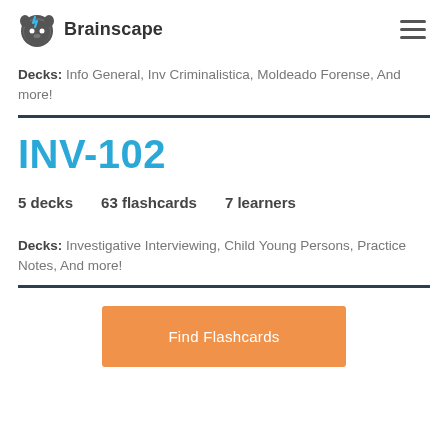Brainscape
Decks: Info General, Inv Criminalistica, Moldeado Forense, And more!
INV-102
5 decks   63 flashcards   7 learners
Decks: Investigative Interviewing, Child Young Persons, Practice Notes, And more!
Find Flashcards